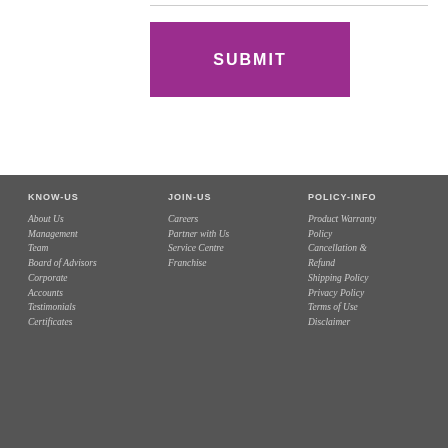SUBMIT
KNOW-US
JOIN-US
POLICY-INFO
About Us
Management Team
Board of Advisors
Corporate Accounts
Testimonials
Certificates
Careers
Partner with Us
Service Centre
Franchise
Product Warranty Policy
Cancellation & Refund
Shipping Policy
Privacy Policy
Terms of Use
Disclaimer
SUPPORT
OUR-WEBSITES
Contact Us
www.remotesupport24x7.com